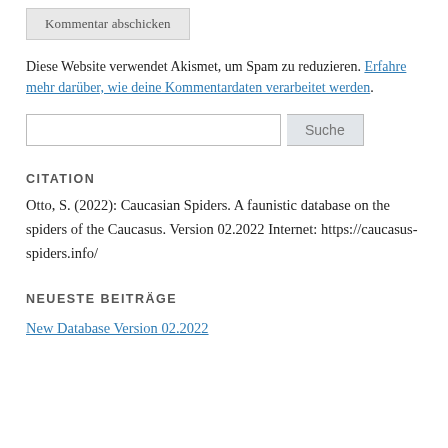Kommentar abschicken
Diese Website verwendet Akismet, um Spam zu reduzieren. Erfahre mehr darüber, wie deine Kommentardaten verarbeitet werden.
Suche
CITATION
Otto, S. (2022): Caucasian Spiders. A faunistic database on the spiders of the Caucasus. Version 02.2022 Internet: https://caucasus-spiders.info/
NEUESTE BEITRÄGE
New Database Version 02.2022